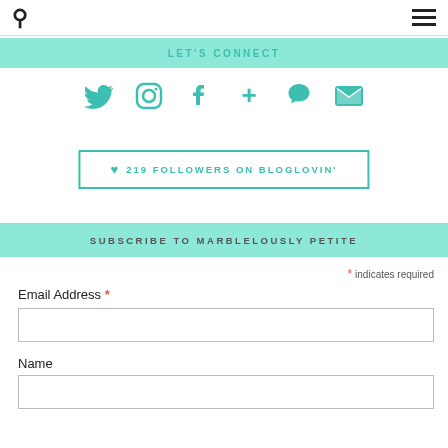search and menu icons
LET'S CONNECT
[Figure (infographic): Row of 6 social media icons in teal: Twitter bird, Instagram camera, Facebook f, Google+ plus sign, Snapchat ghost, Email envelope]
♥ 219 FOLLOWERS ON BLOGLOVIN'
SUBSCRIBE TO MARBLELOUSLY PETITE
* indicates required
Email Address *
Name